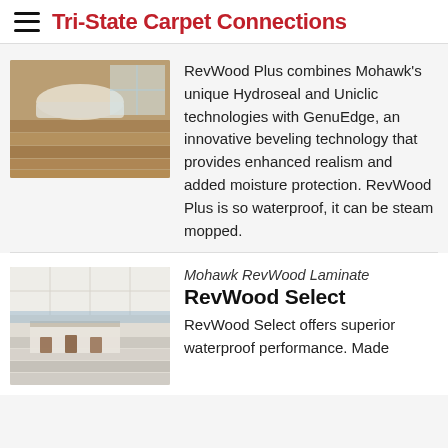Tri-State Carpet Connections
[Figure (photo): Photo of a bathroom/living area with light brown wood-look laminate flooring and a freestanding bathtub]
RevWood Plus combines Mohawk's unique Hydroseal and Uniclic technologies with GenuEdge, an innovative beveling technology that provides enhanced realism and added moisture protection. RevWood Plus is so waterproof, it can be steam mopped.
[Figure (photo): Photo of a bright kitchen with white cabinets, a kitchen island with bar stools, and light gray wood-look laminate flooring]
Mohawk RevWood Laminate
RevWood Select
RevWood Select offers superior waterproof performance. Made